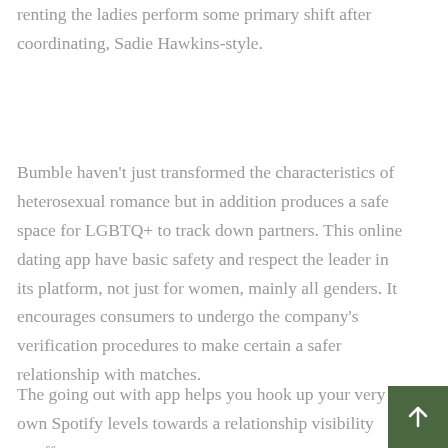renting the ladies perform some primary shift after coordinating, Sadie Hawkins-style.
Bumble haven't just transformed the characteristics of heterosexual romance but in addition produces a safe space for LGBTQ+ to track down partners. This online dating app have basic safety and respect the leader in its platform, not just for women, mainly all genders. It encourages consumers to undergo the company's verification procedures to make certain a safer relationship with matches.
The going out with app helps you hook up your very own Spotify levels towards a relationship visibility to offer